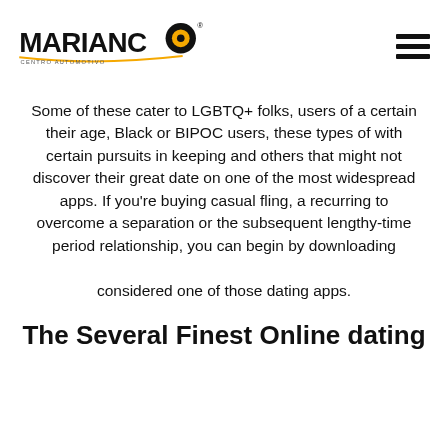MARIANO CENTRO AUTOMOTIVO
Some of these cater to LGBTQ+ folks, users of a certain their age, Black or BIPOC users, these types of with certain pursuits in keeping and others that might not discover their great date on one of the most widespread apps. If you’re buying casual fling, a recurring to overcome a separation or the subsequent lengthy-time period relationship, you can begin by downloading

considered one of those dating apps.
The Several Finest Online dating